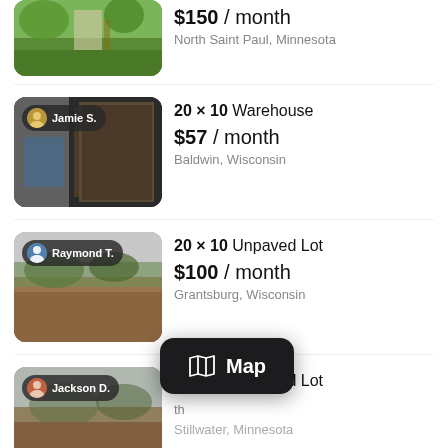[Figure (screenshot): Mobile app screenshot showing a list of storage space rental listings. Top partial listing shows $150/month in North Saint Paul, Minnesota. Second listing: Jamie S., 20x10 Warehouse, $57/month, Baldwin, Wisconsin. Third listing: Raymond T., 20x10 Unpaved Lot, $100/month, Grantsburg, Wisconsin. Fourth partial listing: Jackson D., 30x30 Unpaved Lot, $[amount]/month, Stillwater, Minnesota. A dark 'Map' button overlay appears at the bottom.]